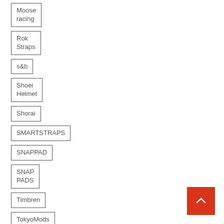Moose racing
Rok Straps
s&b
Shoei Helmet
Shorai
SMARTSTRAPS
SNAPPAD
SNAP PADS
Timbren
TokyoMods